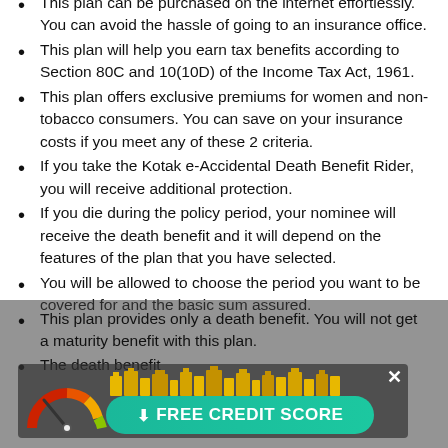This plan can be purchased on the internet effortlessly. You can avoid the hassle of going to an insurance office.
This plan will help you earn tax benefits according to Section 80C and 10(10D) of the Income Tax Act, 1961.
This plan offers exclusive premiums for women and non-tobacco consumers. You can save on your insurance costs if you meet any of these 2 criteria.
If you take the Kotak e-Accidental Death Benefit Rider, you will receive additional protection.
If you die during the policy period, your nominee will receive the death benefit and it will depend on the features of the plan that you have selected.
You will be allowed to choose the period you want to be covered for and the basic sum assured.
This plan provides only a death benefit. You will not get a maturity benefit with this plan.
The death benefit... (recurring)
[Figure (infographic): Free Credit Score banner with gauge/speedometer icon, building icons, green rounded button with down arrow and text FREE CREDIT SCORE, and a close X button]